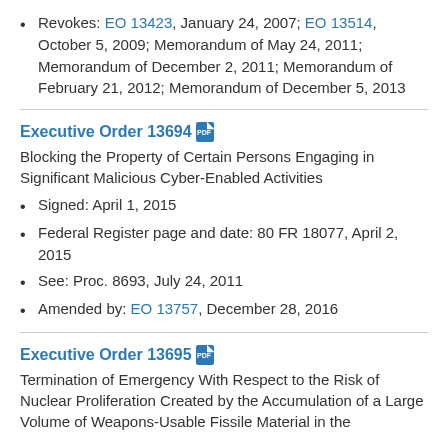Revokes: EO 13423, January 24, 2007; EO 13514, October 5, 2009; Memorandum of May 24, 2011; Memorandum of December 2, 2011; Memorandum of February 21, 2012; Memorandum of December 5, 2013
Executive Order 13694
Blocking the Property of Certain Persons Engaging in Significant Malicious Cyber-Enabled Activities
Signed:  April 1, 2015
Federal Register page and date: 80 FR 18077, April 2, 2015
See: Proc. 8693, July 24, 2011
Amended by: EO 13757, December 28, 2016
Executive Order 13695
Termination of Emergency With Respect to the Risk of Nuclear Proliferation Created by the Accumulation of a Large Volume of Weapons-Usable Fissile Material in the